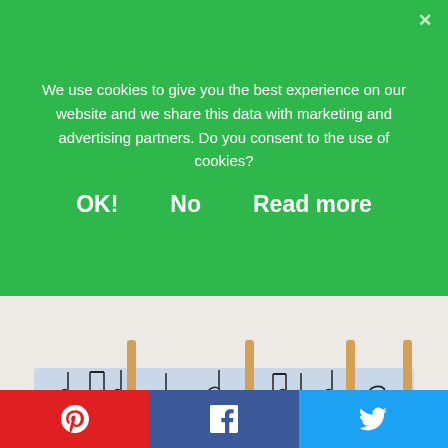We use cookies to give you the best experience on our website and we share this data with marketing and advertising partners. Do you consent to the use of cookies?
OK!
No
Read more
[Figure (photo): Photo of a horizontal strip of blue paper with printed musical notes (quarter notes, eighth notes, half note, whole note), divided into sections by wooden popsicle sticks standing vertically.]
Once the rhythms were composed we practiced saying each using the rhythm syllables (I use the Kodály rhythm syllables; ta, titi, etc.). When everyone had got the hang of that we added rhythm